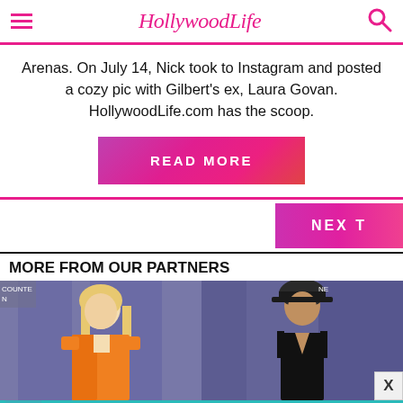Hollywood Life
Arenas. On July 14, Nick took to Instagram and posted a cozy pic with Gilbert's ex, Laura Govan. HollywoodLife.com has the scoop.
READ MORE
NEXT
MORE FROM OUR PARTNERS
[Figure (photo): Two women side by side: one in an orange blazer with blonde hair, one in a black halter dress with dark curly hair, posing at an event with a geometric backdrop]
[Figure (infographic): Advertisement banner: 'WE HELP CONTENT CREATORS GROW BUSINESSES THROUGH...' with SHE Partner Network logo and 'LEARN MORE' button]